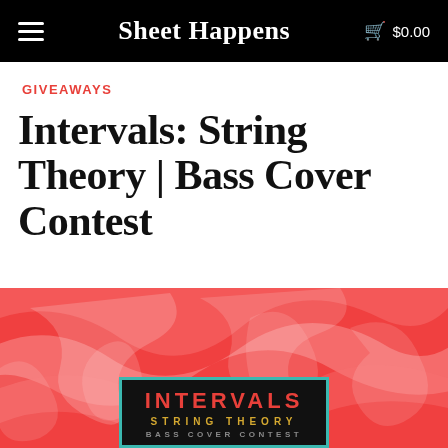Sheet Happens  $0.00
GIVEAWAYS
Intervals: String Theory | Bass Cover Contest
[Figure (illustration): Red marble-patterned background with an album cover box in the center bottom. The box has a teal border on a black background, showing 'INTERVALS' in red, 'STRING THEORY' in gold, and 'BASS COVER CONTEST' in grey letters.]